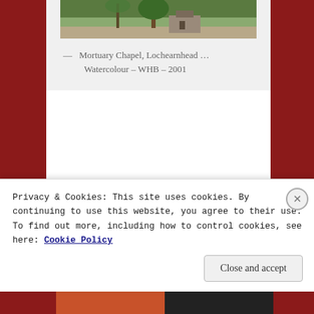[Figure (illustration): Watercolour painting of Mortuary Chapel, Lochearnhead, showing a building with trees]
— Mortuary Chapel, Lochearnhead … Watercolour – WHB – 2001
SHARE THIS:
Email  Print  Pinterest
Privacy & Cookies: This site uses cookies. By continuing to use this website, you agree to their use.
To find out more, including how to control cookies, see here: Cookie Policy
Close and accept